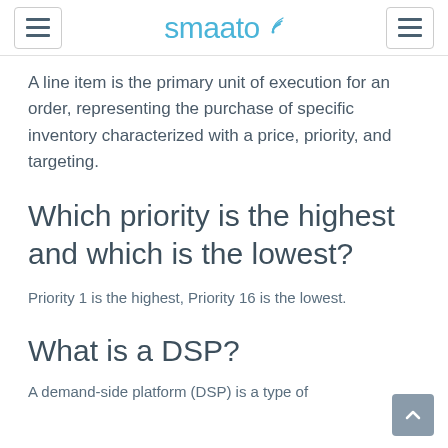smaato
A line item is the primary unit of execution for an order, representing the purchase of specific inventory characterized with a price, priority, and targeting.
Which priority is the highest and which is the lowest?
Priority 1 is the highest, Priority 16 is the lowest.
What is a DSP?
A demand-side platform (DSP) is a type of